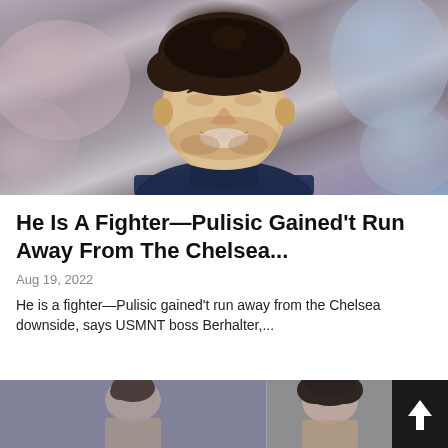[Figure (photo): Close-up photo of Christian Pulisic smiling and looking upward, wearing a blue jersey, with a blurred crowd background]
He Is A Fighter—Pulisic Gained't Run Away From The Chelsea...
Aug 19, 2022
He is a fighter—Pulisic gained't run away from the Chelsea downside, says USMNT boss Berhalter,...
[Figure (photo): Bottom row showing two smaller photos of soccer players, partially visible, with a dark scroll-to-top button on the right]